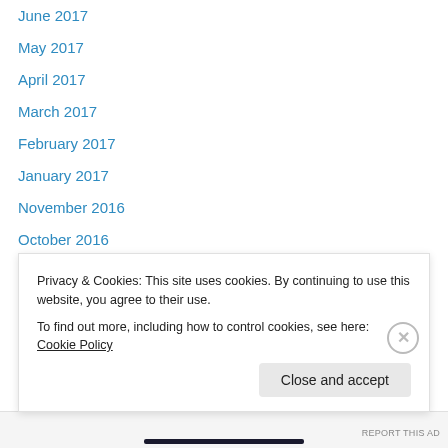June 2017
May 2017
April 2017
March 2017
February 2017
January 2017
November 2016
October 2016
September 2016
August 2016
July 2016
June 2016
May 2016
April 2016
Privacy & Cookies: This site uses cookies. By continuing to use this website, you agree to their use.
To find out more, including how to control cookies, see here: Cookie Policy